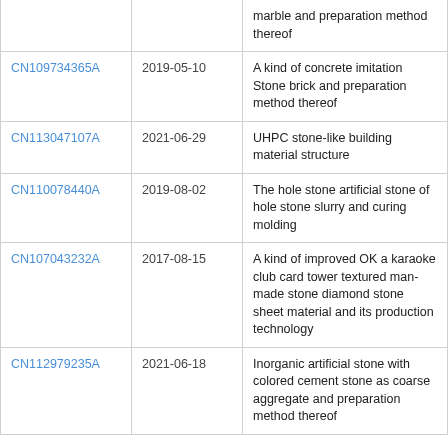|  |  | marble and preparation method thereof |
| CN109734365A | 2019-05-10 | A kind of concrete imitation Stone brick and preparation method thereof |
| CN113047107A | 2021-06-29 | UHPC stone-like building material structure |
| CN110078440A | 2019-08-02 | The hole stone artificial stone of hole stone slurry and curing molding |
| CN107043232A | 2017-08-15 | A kind of improved OK a karaoke club card tower textured man-made stone diamond stone sheet material and its production technology |
| CN112979235A | 2021-06-18 | Inorganic artificial stone with colored cement stone as coarse aggregate and preparation method thereof |